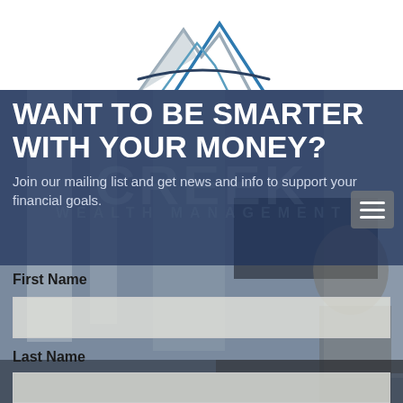[Figure (logo): Clear Creek Wealth Management logo — mountain peaks outline in blue and grey above the company name text, partially visible as watermark]
WANT TO BE SMARTER WITH YOUR MONEY?
Join our mailing list and get news and info to support your financial goals.
First Name
Last Name